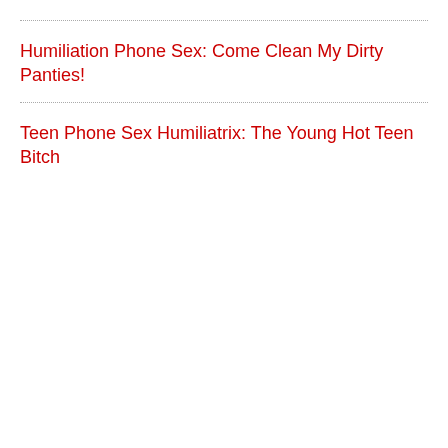Humiliation Phone Sex: Come Clean My Dirty Panties!
Teen Phone Sex Humiliatrix: The Young Hot Teen Bitch